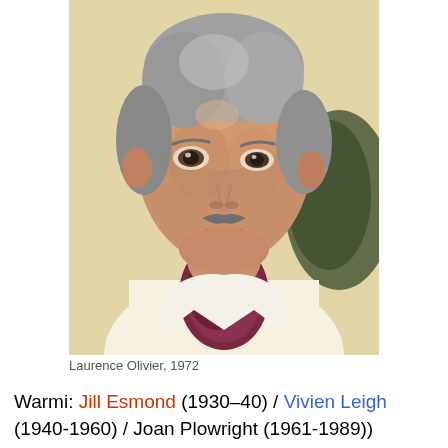[Figure (photo): Color photograph of Laurence Olivier in 1972, an older man with grey hair and a moustache, wearing a cream/white open-collar shirt with a dark red paisley cravat, seated in front of a light background.]
Laurence Olivier, 1972
Warmi: Jill Esmond (1930–40) / Vivien Leigh (1940-1960) / Joan Plowright (1961-1989))